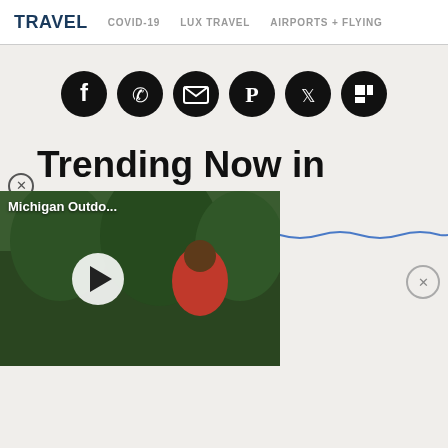TRAVEL   COVID-19   LUX TRAVEL   AIRPORTS + FLYING
[Figure (infographic): Row of 6 social media sharing icons (Facebook, WhatsApp, Email, Pinterest, Twitter, Flipboard) as white icons on black circles]
Trending Now in Sweden
[Figure (screenshot): Video overlay showing outdoor Michigan scene with person in red shirt and trees, labeled 'Michigan Outdo...' with play button]
rnational Vacations
ifordable Now Than in
[Figure (infographic): Advertisement for Pluralsight: In-Demand Tech Skills with orange/pink gradient icon and pink Open button]